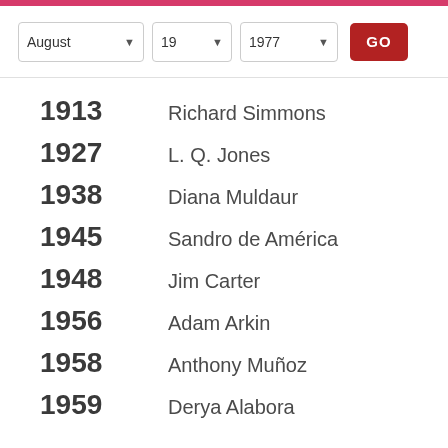[Figure (screenshot): Date selector UI with dropdowns for August, 19, 1977 and a red GO button]
1913 Richard Simmons
1927 L. Q. Jones
1938 Diana Muldaur
1945 Sandro de América
1948 Jim Carter
1956 Adam Arkin
1958 Anthony Muñoz
1959 Derya Alabora